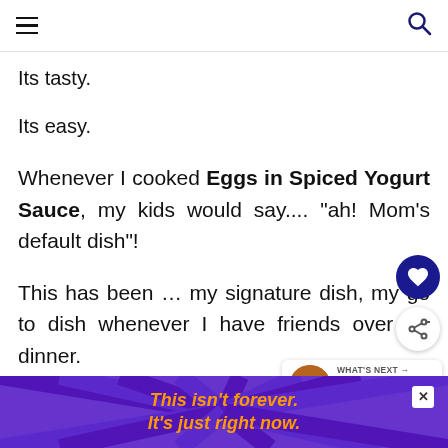Its tasty.
Its easy.
Whenever I cooked Eggs in Spiced Yogurt Sauce, my kids would say.... "ah! Mom's default dish"!
This has been … my signature dish, my go to dish whenever I have friends over for dinner.
WHAT'S NEXT → Harissa Roast Chicken
This isn't forever.
It's just right now.